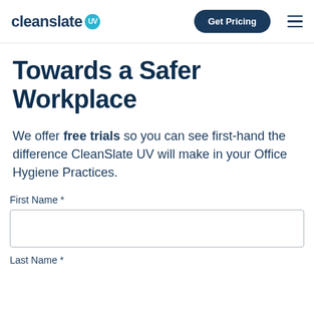cleanslate UV  Get Pricing
Towards a Safer Workplace
We offer free trials so you can see first-hand the difference CleanSlate UV will make in your Office Hygiene Practices.
First Name *
Last Name *